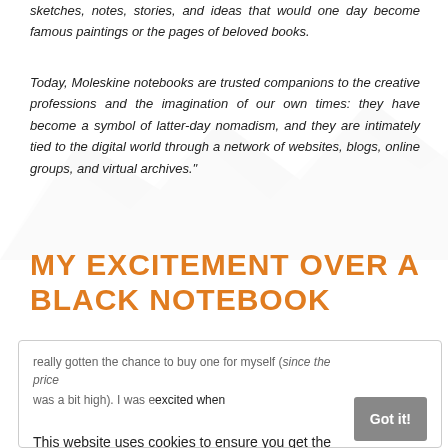sketches, notes, stories, and ideas that would one day become famous paintings or the pages of beloved books.
Today, Moleskine notebooks are trusted companions to the creative professions and the imagination of our own times: they have become a symbol of latter-day nomadism, and they are intimately tied to the digital world through a network of websites, blogs, online groups, and virtual archives."
MY EXCITEMENT OVER A BLACK NOTEBOOK
I've always admired the look of the Moleskine brand, but haven't really gotten the chance to buy one for myself (since the price was a bit high). I was excited when getting one as a gift.
This website uses cookies to ensure you get the best experience on our website.
Learn more
Moleskine's hardbound notebooks may just be the minimalist